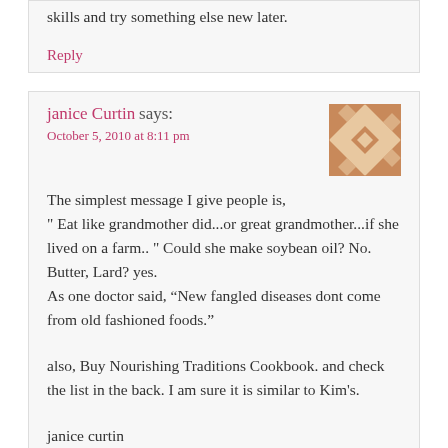skills and try something else new later.
Reply
janice Curtin says:
October 5, 2010 at 8:11 pm
[Figure (illustration): Quilted avatar icon in orange/tan geometric pattern]
The simplest message I give people is, " Eat like grandmother did...or great grandmother...if she lived on a farm.. " Could she make soybean oil? No. Butter, Lard? yes. As one doctor said, “New fangled diseases dont come from old fashioned foods.”
also, Buy Nourishing Traditions Cookbook. and check the list in the back. I am sure it is similar to Kim's.
janice curtin
Reply